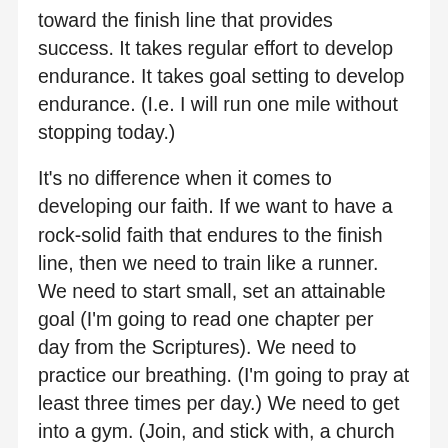toward the finish line that provides success. It takes regular effort to develop endurance. It takes goal setting to develop endurance. (I.e. I will run one mile without stopping today.)
It's no difference when it comes to developing our faith. If we want to have a rock-solid faith that endures to the finish line, then we need to train like a runner. We need to start small, set an attainable goal (I'm going to read one chapter per day from the Scriptures). We need to practice our breathing. (I'm going to pray at least three times per day.) We need to get into a gym. (Join, and stick with, a church family.) And, when that goal has been reached, set another goal. Then another. And so on. Keep running. Don't stop. Develop an eternal endurance.